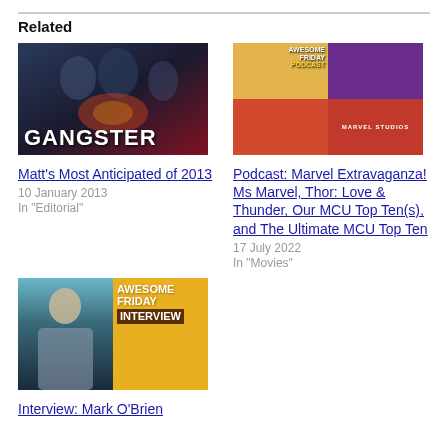Related
[Figure (photo): Movie poster for a gangster film showing men in suits with the word GANGSTER in large white text]
[Figure (photo): Awesome Friday Podcast thumbnail with Marvel Studios branding, split into four quadrants with yellow, purple, and red sections]
Matt's Most Anticipated of 2013
10 January 2013
In "Editorial"
Podcast: Marvel Extravaganza! Ms Marvel, Thor: Love & Thunder, Our MCU Top Ten(s), and The Ultimate MCU Top Ten
17 July 2022
In "Movies"
[Figure (photo): Awesome Friday Interview thumbnail showing a man on the left pane and the Awesome Friday Interview logo on yellow background]
Interview: Mark O'Brien